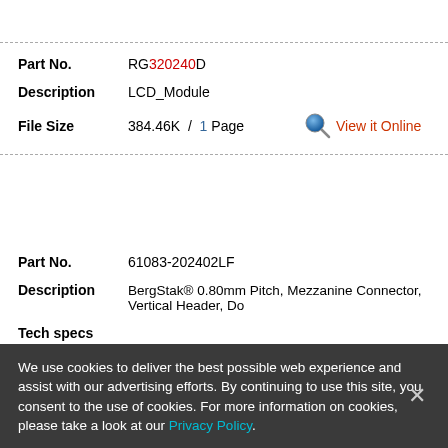Part No. RG320240D
Description LCD_Module
File Size 384.46K / 1 Page   View it Online
Part No. 61083-202402LF
Description BergStak® 0.80mm Pitch, Mezzanine Connector, Vertical Header, Do
Tech specs
We use cookies to deliver the best possible web experience and assist with our advertising efforts. By continuing to use this site, you consent to the use of cookies. For more information on cookies, please take a look at our Privacy Policy.